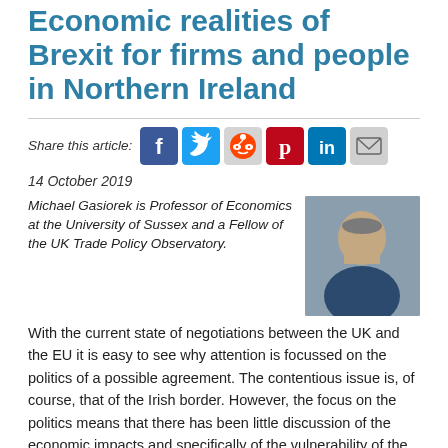Economic realities of Brexit for firms and people in Northern Ireland
Share this article:
14 October 2019
Michael Gasiorek is Professor of Economics at the University of Sussex and a Fellow of the UK Trade Policy Observatory.
[Figure (photo): Headshot photo of Michael Gasiorek, a middle-aged man with grey hair wearing a dark blue shirt, against a grey background.]
With the current state of negotiations between the UK and the EU it is easy to see why attention is focussed on the politics of a possible agreement. The contentious issue is, of course, that of the Irish border. However, the focus on the politics means that there has been little discussion of the economic impacts and specifically of the vulnerability of the Northern Irish economy to the decisions being made.